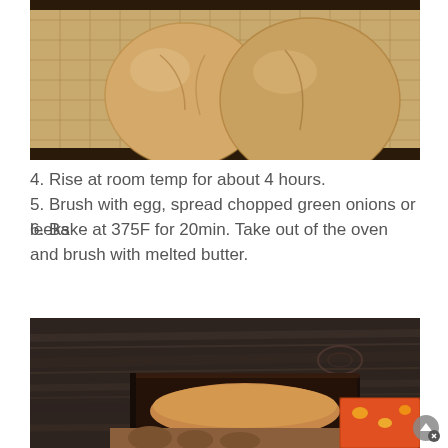[Figure (photo): Bread dough balls on a woven baking mat on a dark wooden tray, viewed from above]
4. Rise at room temp for about 4 hours.
5. Brush with egg, spread chopped green onions or leeks
6. Bake at 375F for 20min. Take out of the oven and brush with melted butter.
[Figure (photo): Hands holding a dark wooden baking pan on a dark wood surface, with a colorful red-orange cloth/oven mitt visible]